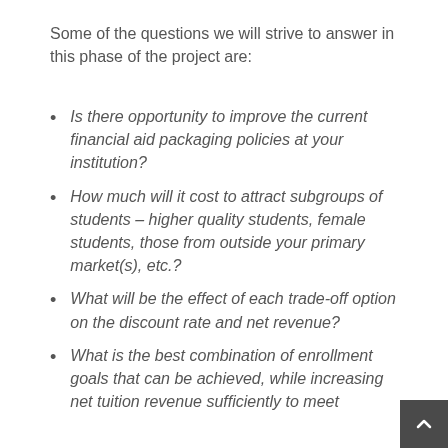Some of the questions we will strive to answer in this phase of the project are:
Is there opportunity to improve the current financial aid packaging policies at your institution?
How much will it cost to attract subgroups of students – higher quality students, female students, those from outside your primary market(s), etc.?
What will be the effect of each trade-off option on the discount rate and net revenue?
What is the best combination of enrollment goals that can be achieved, while increasing net tuition revenue sufficiently to meet